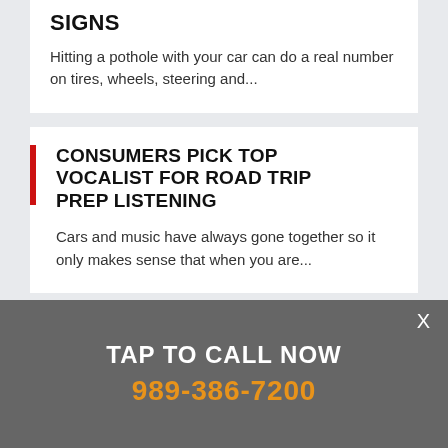SIGNS
Hitting a pothole with your car can do a real number on tires, wheels, steering and...
CONSUMERS PICK TOP VOCALIST FOR ROAD TRIP PREP LISTENING
Cars and music have always gone together so it only makes sense that when you are...
TAP TO CALL NOW
989-386-7200